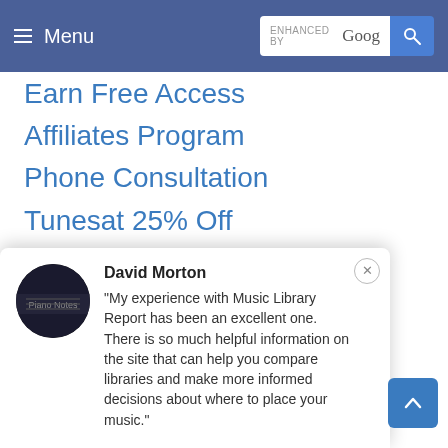Menu | ENHANCED BY Google [search]
Earn Free Access
Affiliates Program
Phone Consultation
Tunesat 25% Off
MLR YouTube Channel
Music Licensing Quiz
PRO Paying Networks
Build Your Own Site
MLR Jukebox
David Morton
"My experience with Music Library Report has been an excellent one. There is so much helpful information on the site that can help you compare libraries and make more informed decisions about where to place your music."